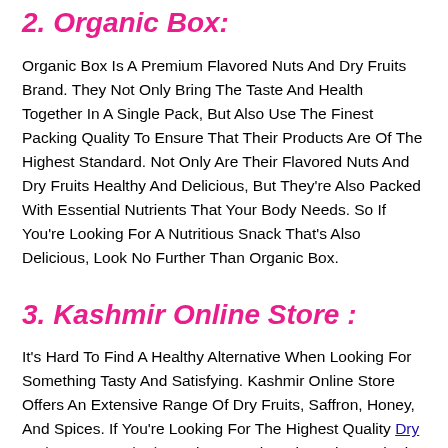2. Organic Box:
Organic Box Is A Premium Flavored Nuts And Dry Fruits Brand. They Not Only Bring The Taste And Health Together In A Single Pack, But Also Use The Finest Packing Quality To Ensure That Their Products Are Of The Highest Standard. Not Only Are Their Flavored Nuts And Dry Fruits Healthy And Delicious, But They're Also Packed With Essential Nutrients That Your Body Needs. So If You're Looking For A Nutritious Snack That's Also Delicious, Look No Further Than Organic Box.
3. Kashmir Online Store :
It's Hard To Find A Healthy Alternative When Looking For Something Tasty And Satisfying. Kashmir Online Store Offers An Extensive Range Of Dry Fruits, Saffron, Honey, And Spices. If You're Looking For The Highest Quality Dry Fruits From Kashmir, Look No Further Than The Kashmir Online Store. We Source Our Dry Fruits Directly